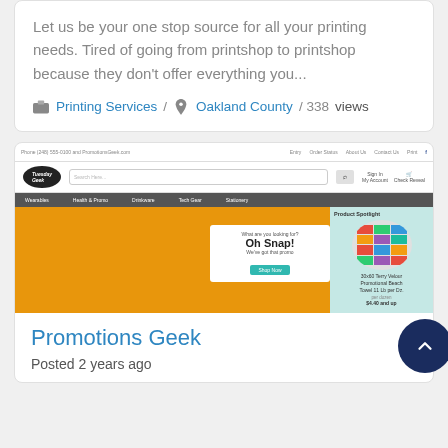Let us be your one stop source for all your printing needs. Tired of going from printshop to printshop because they don't offer everything you...
Printing Services / Oakland County / 338 views
[Figure (screenshot): Screenshot of the Promotions Geek website showing the homepage with logo, navigation bar, and a banner advertisement with 'Oh Snap! We've got that promo' text and a product spotlight section]
Promotions Geek
Posted 2 years ago